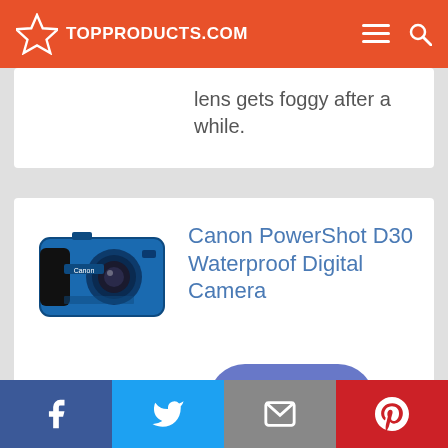TOP PRODUCTS .COM
lens gets foggy after a while.
Canon PowerShot D30 Waterproof Digital Camera
Check Price on Amazon
Facebook | Twitter | Email | Pinterest